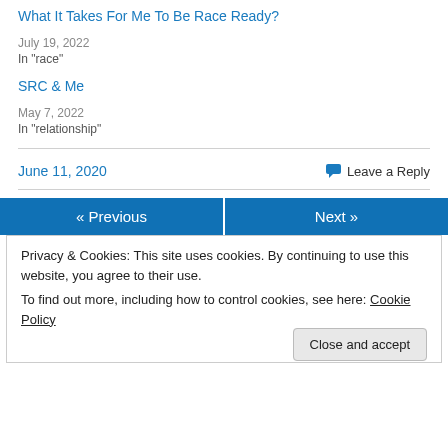What It Takes For Me To Be Race Ready?
July 19, 2022
In "race"
SRC & Me
May 7, 2022
In "relationship"
June 11, 2020
Leave a Reply
« Previous
Next »
Privacy & Cookies: This site uses cookies. By continuing to use this website, you agree to their use.
To find out more, including how to control cookies, see here: Cookie Policy
Close and accept